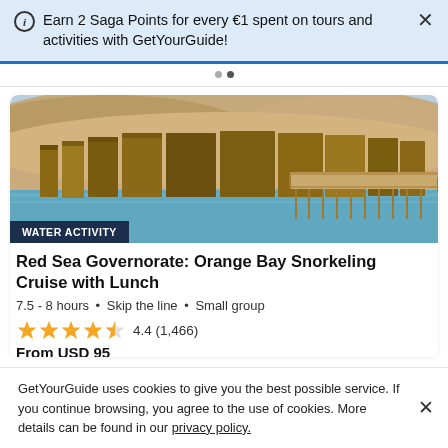Earn 2 Saga Points for every €1 spent on tours and activities with GetYourGuide!
[Figure (photo): A wooden pier/boardwalk leading to a large waterfront structure built on stilts over a turquoise sea, with desert hills in the background — Red Sea Governorate, Orange Bay.]
WATER ACTIVITY
Red Sea Governorate: Orange Bay Snorkeling Cruise with Lunch
7.5 - 8 hours • Skip the line • Small group
4.4 (1,466)
From USD 95
GetYourGuide uses cookies to give you the best possible service. If you continue browsing, you agree to the use of cookies. More details can be found in our privacy policy.